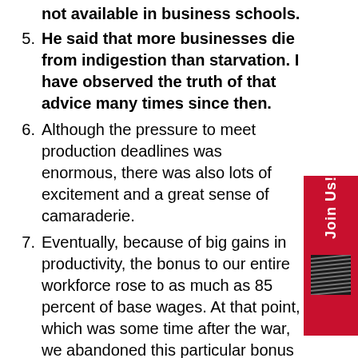not available in business schools.
He said that more businesses die from indigestion than starvation. I have observed the truth of that advice many times since then.
Although the pressure to meet production deadlines was enormous, there was also lots of excitement and a great sense of camaraderie.
Eventually, because of big gains in productivity, the bonus to our entire workforce rose to as much as 85 percent of base wages. At that point, which was some time after the war, we abandoned this particular bonus plan. But in no way did we discontinue the practice of sharing profits among all our people. To this day, Hewlett-Packard has a profit-sharing program that encourages teamwork and maintains that important link between employee effort and corporate success.